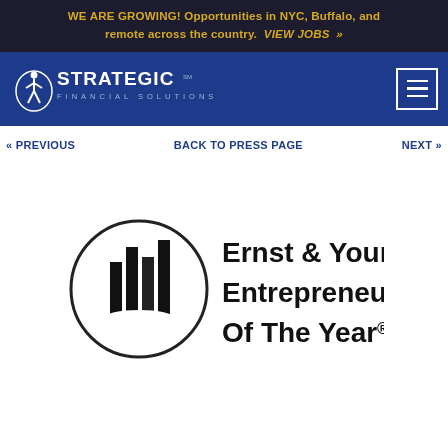WE ARE GROWING! Opportunities in NYC, Buffalo, and remote across the country. VIEW JOBS »
[Figure (logo): Strategic Financial Solutions logo with hamburger menu button on dark blue navbar]
« PREVIOUS   BACK TO PRESS PAGE   NEXT »
[Figure (logo): Ernst & Young Entrepreneur Of The Year® logo with bar chart circle icon]